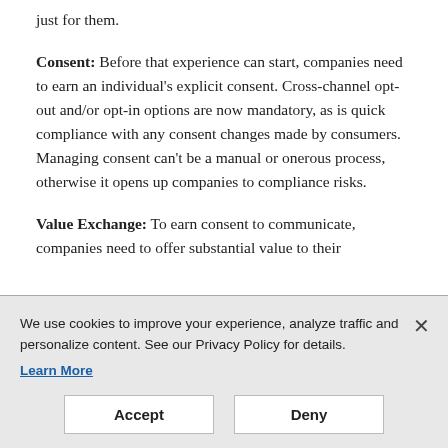just for them.
Consent: Before that experience can start, companies need to earn an individual's explicit consent. Cross-channel opt-out and/or opt-in options are now mandatory, as is quick compliance with any consent changes made by consumers. Managing consent can't be a manual or onerous process, otherwise it opens up companies to compliance risks.
Value Exchange: To earn consent to communicate, companies need to offer substantial value to their
We use cookies to improve your experience, analyze traffic and personalize content. See our Privacy Policy for details. Learn More